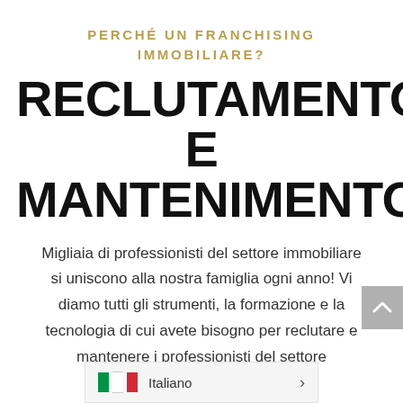PERCHÉ UN FRANCHISING IMMOBILIARE?
RECLUTAMENTO E MANTENIMENTO
Migliaia di professionisti del settore immobiliare si uniscono alla nostra famiglia ogni anno! Vi diamo tutti gli strumenti, la formazione e la tecnologia di cui avete bisogno per reclutare e mantenere i professionisti del settore immobiliare.
L'UNICA opportunità nel franchising immobiliare che consente reinvestire nella propria
[Figure (other): Scroll-to-top button (grey chevron up arrow)]
[Figure (other): Italian language selector bar with Italian flag and 'Italiano' label and a right arrow]